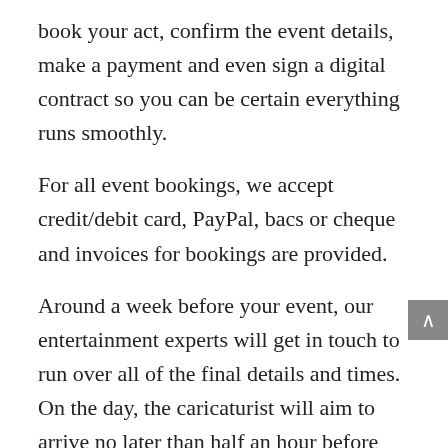book your act, confirm the event details, make a payment and even sign a digital contract so you can be certain everything runs smoothly.
For all event bookings, we accept credit/debit card, PayPal, bacs or cheque and invoices for bookings are provided.
Around a week before your event, our entertainment experts will get in touch to run over all of the final details and times. On the day, the caricaturist will aim to arrive no later than half an hour before the agreed start time in order to meet you or the venue staff/organiser.
All that's left to do at this stage is relax and enjoy the fun your Cambridgeshire caricaturist will bring to your event!